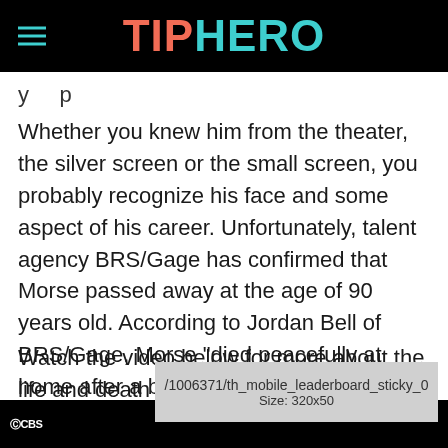TIPHERO
y p
Whether you knew him from the theater, the silver screen or the small screen, you probably recognize his face and some aspect of his career. Unfortunately, talent agency BRS/Gage has confirmed that Morse passed away at the age of 90 years old. According to Jordan Bell of BRS/Gage, Morse “died peacefully at home after a brief illness.”
Watch the video below for more about the life and death of actor Robert Morse.
[Figure (screenshot): Ad placeholder overlay showing '/1006371/th_mobile_leaderboard_sticky_0' and 'Size: 320x50' text on grey background, with CBS logo and black bar at bottom]